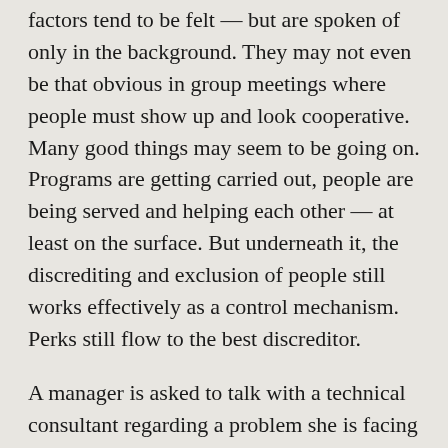factors tend to be felt — but are spoken of only in the background. They may not even be that obvious in group meetings where people must show up and look cooperative. Many good things may seem to be going on. Programs are getting carried out, people are being served and helping each other — at least on the surface. But underneath it, the discrediting and exclusion of people still works effectively as a control mechanism. Perks still flow to the best discreditor.
A manager is asked to talk with a technical consultant regarding a problem she is facing in one of her teams. The two meet but the manager doesn't ask the consultant for an engagement. Later the consultant says with a certain smirking tone to one of the organization's executives, "Well, it was just a "check the box" kind of meeting." He doesn't have to say more. It even sounds thoughtful. But the true implication is she's